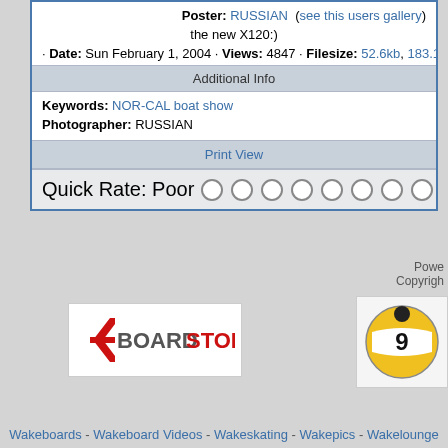Poster: RUSSIAN (see this users gallery)
the new X120:)
· Date: Sun February 1, 2004 · Views: 4847 · Filesize: 52.6kb, 183.1kb · Di...
Additional Info
Keywords: NOR-CAL boat show
Photographer: RUSSIAN
Print View
Quick Rate: Poor ○ ○ ○ ○ ○ ○ ○ ○ ○
Powe... Copyright...
[Figure (logo): BoardStop logo - red and black text on white background]
[Figure (logo): Nine ball / billiards ball logo - yellow ball with 9]
Wakeboards - Wakeboard Videos - Wakeskating - Wakepics - Wakelounge